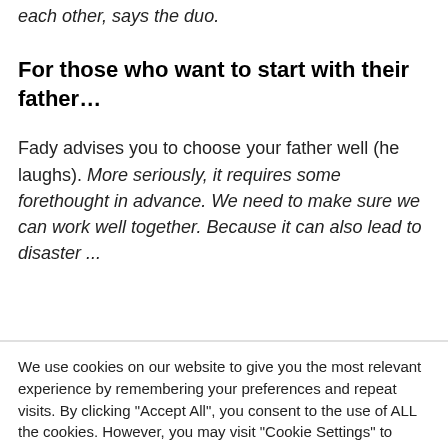each other, says the duo.
For those who want to start with their father…
Fady advises you to choose your father well (he laughs). More seriously, it requires some forethought in advance. We need to make sure we can work well together. Because it can also lead to disaster ...
We use cookies on our website to give you the most relevant experience by remembering your preferences and repeat visits. By clicking “Accept All”, you consent to the use of ALL the cookies. However, you may visit "Cookie Settings" to provide a controlled consent.
Cookie Settings
Accept All